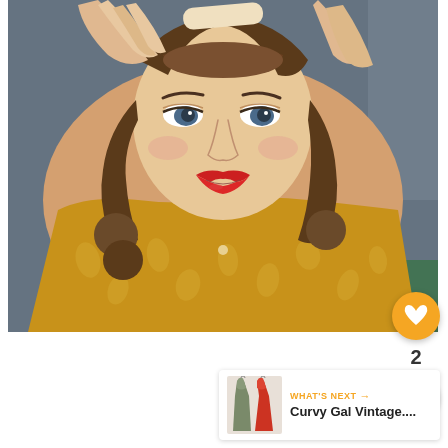[Figure (photo): Woman in vintage 1940s style with hair rollers and a mustard yellow floral cardigan, red lipstick, holding a hair roller at her forehead]
2
[Figure (infographic): WHAT'S NEXT arrow with thumbnail of vintage dresses. Text: Curvy Gal Vintage....]